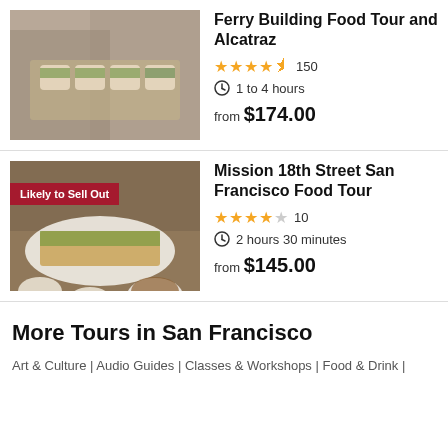[Figure (photo): Person holding a tray of small food cups with chopsticks/spoons]
Ferry Building Food Tour and Alcatraz
★★★★½ 150
1 to 4 hours
from $174.00
[Figure (photo): Tacos and Mexican food on a plate with sauces, labeled Likely to Sell Out]
Mission 18th Street San Francisco Food Tour
★★★★☆ 10
2 hours 30 minutes
from $145.00
More Tours in San Francisco
Art & Culture | Audio Guides | Classes & Workshops | Food & Drink |